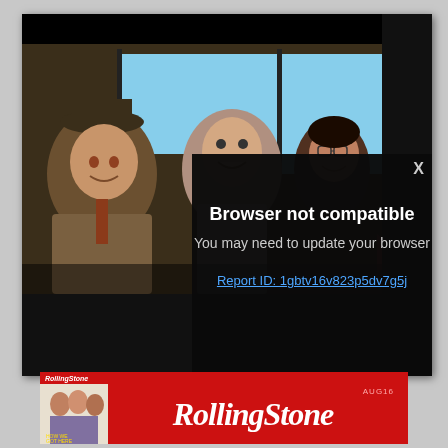[Figure (screenshot): Video player showing a film still of people laughing in a car (classic film, color). A 'Browser not compatible' error overlay appears on the right side of the player with the message 'You may need to update your browser' and a report link. An 'X' close button is visible top-right of the overlay.]
Browser not compatible
You may need to update your browser
Report ID: 1gbtv16v823p5dv7g5j
[Figure (logo): Rolling Stone magazine advertisement banner. Red background with a magazine cover thumbnail on the left and 'RollingStone' logo text in white italic serif font on the right. Small 'AUG16' text above the logo.]